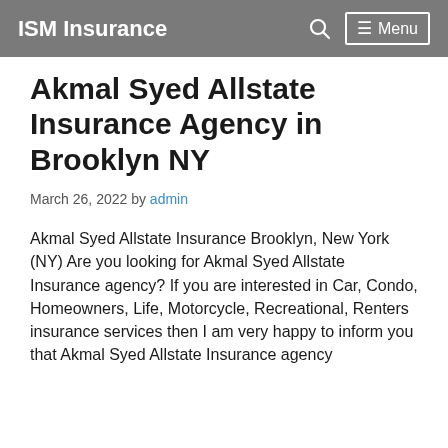ISM Insurance   🔍   ☰ Menu
Akmal Syed Allstate Insurance Agency in Brooklyn NY
March 26, 2022 by admin
Akmal Syed Allstate Insurance Brooklyn, New York (NY) Are you looking for Akmal Syed Allstate Insurance agency? If you are interested in Car, Condo, Homeowners, Life, Motorcycle, Recreational, Renters insurance services then I am very happy to inform you that Akmal Syed Allstate Insurance agency